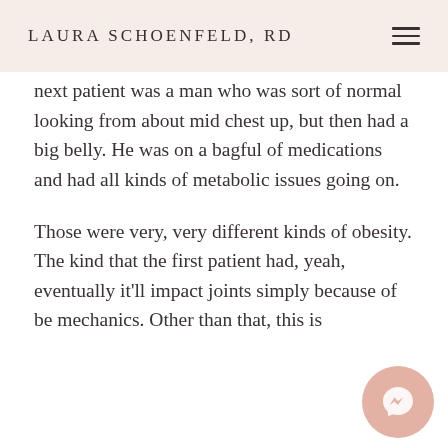LAURA SCHOENFELD, RD
next patient was a man who was sort of normal looking from about mid chest up, but then had a big belly. He was on a bagful of medications and had all kinds of metabolic issues going on.
Those were very, very different kinds of obesity. The kind that the first patient had, yeah, eventually it'll impact joints simply because of be mechanics. Other than that, this is